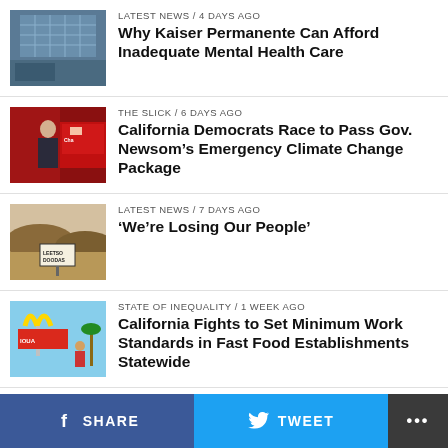[Figure (photo): Exterior of Kaiser Permanente building with grid facade]
LATEST NEWS / 4 days ago
Why Kaiser Permanente Can Afford Inadequate Mental Health Care
[Figure (photo): Man in suit standing in front of red truck, likely Governor Newsom]
THE SLICK / 6 days ago
California Democrats Race to Pass Gov. Newsom’s Emergency Climate Change Package
[Figure (photo): Desert landscape with road sign reading LEETSO DOODAS]
LATEST NEWS / 7 days ago
‘We’re Losing Our People’
[Figure (photo): McDonald's restaurant sign with palm trees and people]
STATE OF INEQUALITY / 1 week ago
California Fights to Set Minimum Work Standards in Fast Food Establishments Statewide
[Figure (photo): Partially visible news item photo]
A THOUSAND CUTS: DEMOCRACY UNDER ATTACK / 1 week ago
SCOTUS Decision Could Lead to Legislatures